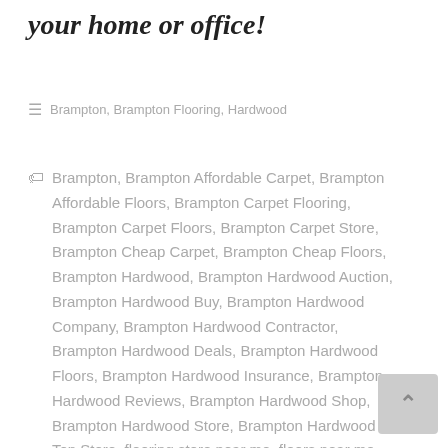your home or office!
Brampton, Brampton Flooring, Hardwood
Brampton, Brampton Affordable Carpet, Brampton Affordable Floors, Brampton Carpet Flooring, Brampton Carpet Floors, Brampton Carpet Store, Brampton Cheap Carpet, Brampton Cheap Floors, Brampton Hardwood, Brampton Hardwood Auction, Brampton Hardwood Buy, Brampton Hardwood Company, Brampton Hardwood Contractor, Brampton Hardwood Deals, Brampton Hardwood Floors, Brampton Hardwood Insurance, Brampton Hardwood Reviews, Brampton Hardwood Shop, Brampton Hardwood Store, Brampton Hardwood Top Store, flooring store near me, floors near me, Hardwood Flooring, hardwood flooring store near me, Hardwood Floors, hardwood floors near me